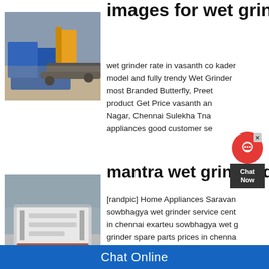images for wet grinder a
[Figure (photo): Excavator and blue industrial crushing machine at a quarry/construction site]
wet grinder rate in vasanth co kader model and fully trendy Wet Grinder most Branded Butterfly, Preet product Get Price vasanth an Nagar, Chennai Sulekha Tna appliances good customer se
mantra wet grinder distr
[Figure (photo): Large industrial tracked mobile crusher/screening machine at a quarry/gravel site]
[randpic] Home Appliances Saravan sowbhagya wet grinder service cent in chennai exarteu sowbhagya wet grinder spare parts prices in chenna Grinder with Total price: 23695 Spa Please dont buy this productl had th
Chat Online